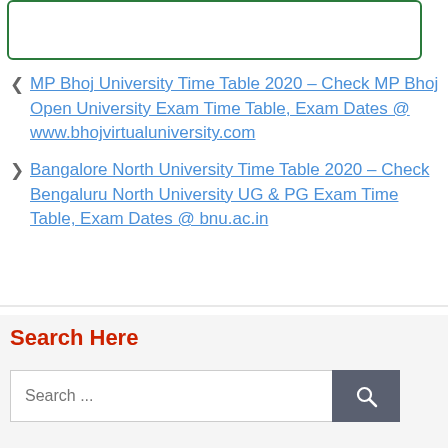MP Bhoj University Time Table 2020 – Check MP Bhoj Open University Exam Time Table, Exam Dates @ www.bhojvirtualuniversity.com
Bangalore North University Time Table 2020 – Check Bengaluru North University UG & PG Exam Time Table, Exam Dates @ bnu.ac.in
Search Here
Search ...